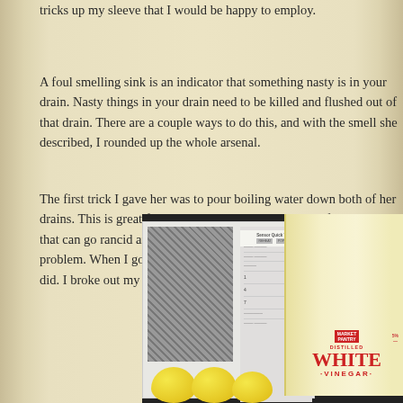tricks up my sleeve that I would be happy to employ.
A foul smelling sink is an indicator that something nasty is in your drain. Nasty things in your drain need to be killed and flushed out of that drain. There are a couple ways to do this, and with the smell she described, I rounded up the whole arsenal.
The first trick I gave her was to pour boiling water down both of her drains. This is great for clearing things like grease and fat residues that can go rancid and smell horrid. Boiling water made a bit of a difference to the problem. When I got to her place, I confirmed that her sink really did stink. I broke out my $5 anti-smell arsenal and got to work.
[Figure (photo): Photo showing a white microwave with a gridded door and control panel, a large jug of Market Pantry Distilled White Vinegar, and lemons in the foreground.]